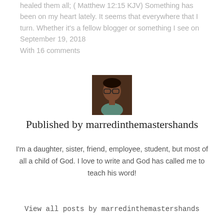healed them all; ( Matthew 12:15 KJV)  Something has been on my heart lately. It seems that everywhere that I turn. Whether it's a fellow blogger or something I see on
September 19, 2018
With 16 comments
[Figure (photo): Small square portrait photo of the blog author, a woman with glasses, dark background]
Published by marredinthemastershands
I'm a daughter, sister, friend, employee, student, but most of all a child of God. I love to write and God has called me to teach his word!
View all posts by marredinthemastershands